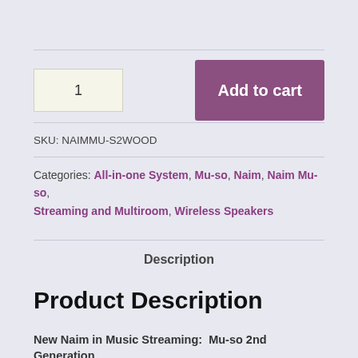1
Add to cart
SKU: NAIMMU-S2WOOD
Categories: All-in-one System, Mu-so, Naim, Naim Mu-so, Streaming and Multiroom, Wireless Speakers
Description
Product Description
New Naim in Music Streaming:  Mu-so 2nd Generation